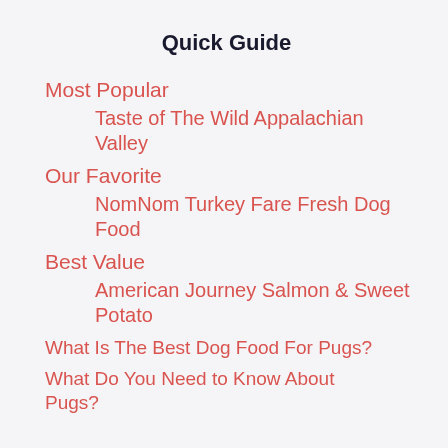Quick Guide
Most Popular
Taste of The Wild Appalachian Valley
Our Favorite
NomNom Turkey Fare Fresh Dog Food
Best Value
American Journey Salmon & Sweet Potato
What Is The Best Dog Food For Pugs?
What Do You Need to Know About Pugs?